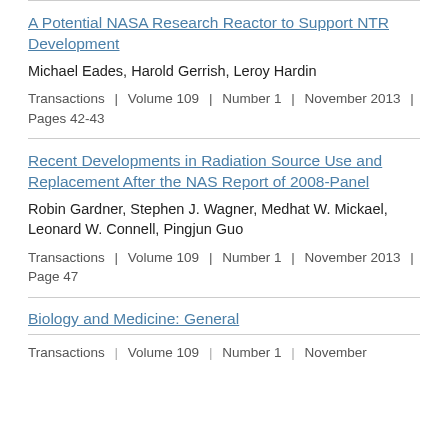A Potential NASA Research Reactor to Support NTR Development
Michael Eades, Harold Gerrish, Leroy Hardin
Transactions | Volume 109 | Number 1 | November 2013 | Pages 42-43
Recent Developments in Radiation Source Use and Replacement After the NAS Report of 2008-Panel
Robin Gardner, Stephen J. Wagner, Medhat W. Mickael, Leonard W. Connell, Pingjun Guo
Transactions | Volume 109 | Number 1 | November 2013 | Page 47
Biology and Medicine: General
Transactions | Volume 109 | Number 1 | November